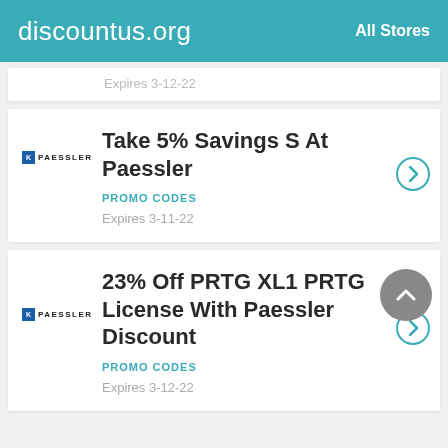discountus.org   All Stores
Expires 3-12-22
Take 5% Savings S At Paessler
PROMO CODES
Expires 3-11-22
23% Off PRTG XL1 PRTG License With Paessler Discount
PROMO CODES
Expires 3-12-22